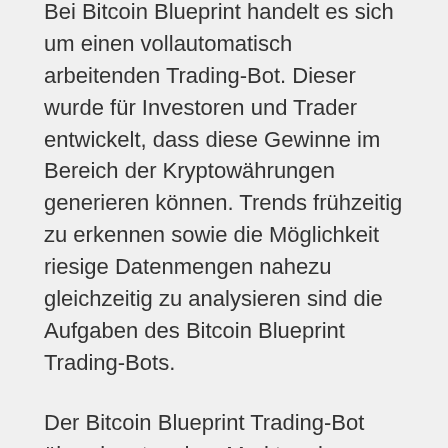Bei Bitcoin Blueprint handelt es sich um einen vollautomatisch arbeitenden Trading-Bot. Dieser wurde für Investoren und Trader entwickelt, dass diese Gewinne im Bereich der Kryptowährungen generieren können. Trends frühzeitig zu erkennen sowie die Möglichkeit riesige Datenmengen nahezu gleichzeitig zu analysieren sind die Aufgaben des Bitcoin Blueprint Trading-Bots.
Der Bitcoin Blueprint Trading-Bot übernimmt zudem Marktanalysen und bewertet Handelsmöglichkeiten. Trades werden von der Software dabei automatisch platziert.
Trading-Bots arbeiten mit sehr großer